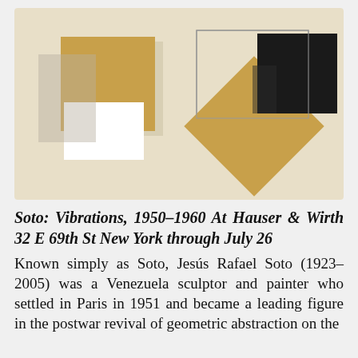[Figure (photo): Photograph of an abstract artwork featuring overlapping geometric shapes — squares and rectangles in gold/wood, white, black, and translucent tones arranged on a cream/beige background.]
Soto: Vibrations, 1950–1960 At Hauser & Wirth 32 E 69th St New York through July 26
Known simply as Soto, Jesús Rafael Soto (1923–2005) was a Venezuela sculptor and painter who settled in Paris in 1951 and became a leading figure in the postwar revival of geometric abstraction on the